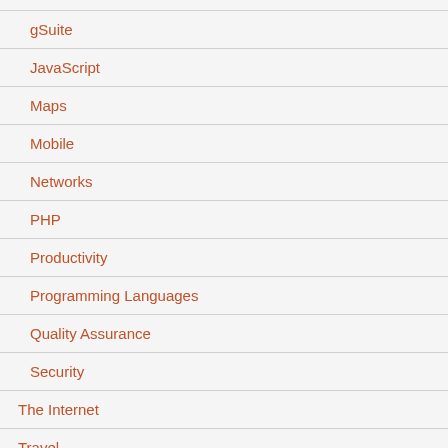gSuite
JavaScript
Maps
Mobile
Networks
PHP
Productivity
Programming Languages
Quality Assurance
Security
The Internet
Travel